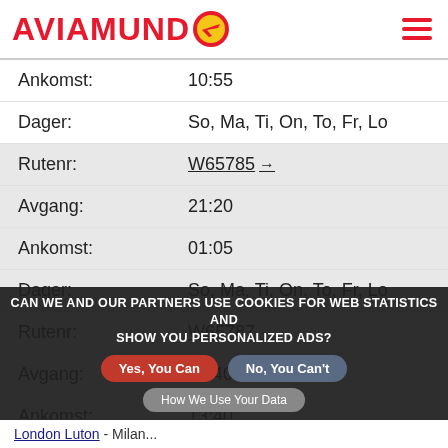AVIAMUNDO
| Label | Value |
| --- | --- |
| Ankomst: | 10:55 |
| Dager: | So, Ma, Ti, On, To, Fr, Lo |
| Rutenr: | W65785 → |
| Avgang: | 21:20 |
| Ankomst: | 01:05 |
| Dager: | So, Ma, Ti, On, To, Fr, Lo |
| Rutenr: | W65787 → |
| Avgang: | 08:40 |
| Ankomst: | 13:40 |
| Dager: | So, Ma, Ti, On, To, Fr, Lo |
CAN WE AND OUR PARTNERS USE COOKIES FOR WEB STATISTICS AND SHOW YOU PERSONALIZED ADS? Yes, You Can  No, You Can't  How We Use Your Data
London Luton - Milan...